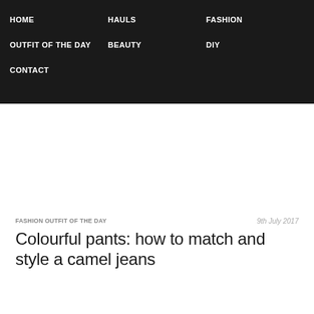HOME  HAULS  FASHION  OUTFIT OF THE DAY  BEAUTY  DIY  CONTACT
tips and tricks home decor
FASHION OUTFIT OF THE DAY
9th July 2017
Colourful pants: how to match and style a camel jeans